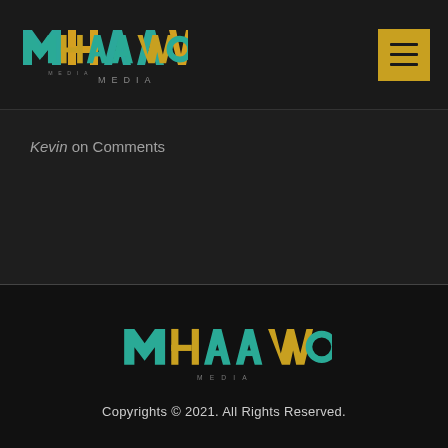HAAWOO MEDIA logo and hamburger menu
Kevin on Comments
[Figure (logo): Haawoo Media logo in footer]
Copyrights © 2021. All Rights Reserved.